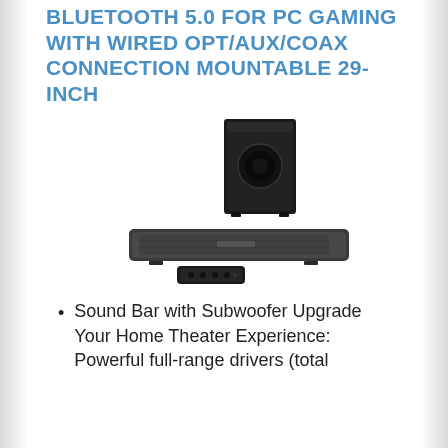BLUETOOTH 5.0 FOR PC GAMING WITH WIRED OPT/AUX/COAX CONNECTION MOUNTABLE 29-INCH
[Figure (photo): Product photo of a soundbar with wireless subwoofer and remote control. The soundbar is a slim horizontal bar, the subwoofer is a tall black box with a circular woofer port, and a small remote control is shown in front.]
Sound Bar with Subwoofer Upgrade Your Home Theater Experience: Powerful full-range drivers (total